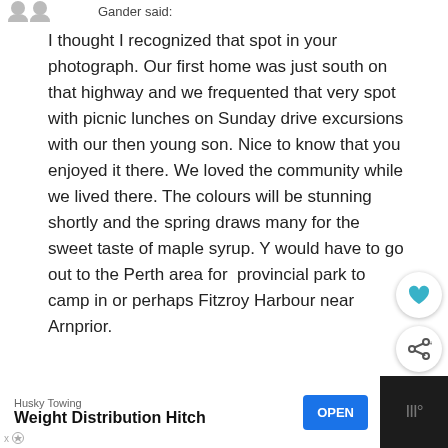Gander said:
I thought I recognized that spot in your photograph. Our first home was just south on that highway and we frequented that very spot with picnic lunches on Sunday drive excursions with our then young son. Nice to know that you enjoyed it there. We loved the community while we lived there. The colours will be stunning shortly and the spring draws many for the sweet taste of maple syrup. You would have to go out to the Perth area for the provincial park to camp in or perhaps Fitzroy Harbour near Arnprior.
[Figure (screenshot): What's Next panel showing Campskunk And Sharon... article with thumbnail image]
[Figure (infographic): Advertisement bar at bottom: Husky Towing - Weight Distribution Hitch with OPEN button]